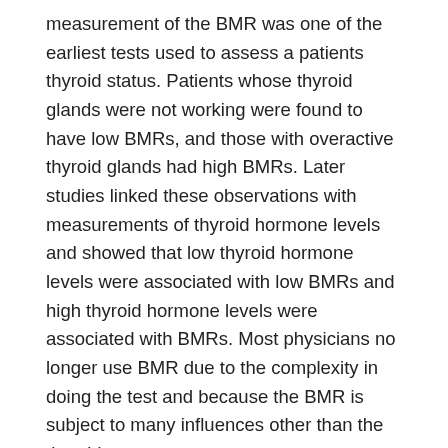measurement of the BMR was one of the earliest tests used to assess a patients thyroid status. Patients whose thyroid glands were not working were found to have low BMRs, and those with overactive thyroid glands had high BMRs. Later studies linked these observations with measurements of thyroid hormone levels and showed that low thyroid hormone levels were associated with low BMRs and high thyroid hormone levels were associated with BMRs. Most physicians no longer use BMR due to the complexity in doing the test and because the BMR is subject to many influences other than the thyroid state.
Read Also: Is Apple Cider Vinegar Good For Your Thyroid
Eat Smaller More Frequent Meals
Hypothyroidism often slows digestive function, causing your